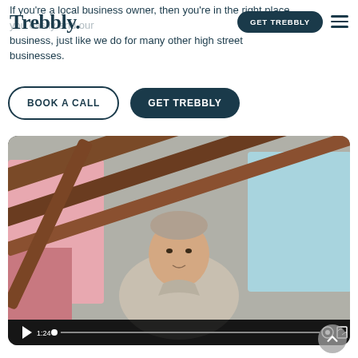Trebbly.
If you're a local business owner, then you're in the right place. [GET TREBBLY] you easily and [your] business, just like we do for many other high street businesses.
BOOK A CALL
GET TREBBLY
[Figure (screenshot): Video thumbnail showing a man in a light-coloured shirt seated against a background with wooden beams and colourful pink and blue panels. Video player controls at the bottom show play button, timestamp 1:24, progress bar, settings gear icon, and fullscreen icon.]